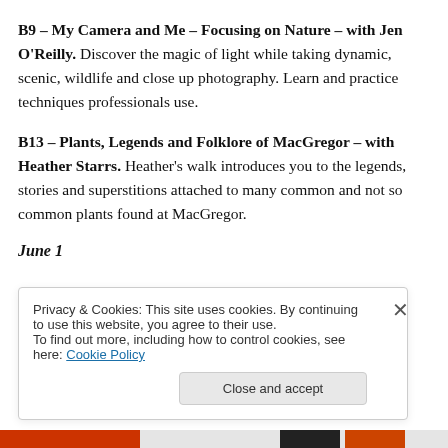B9 – My Camera and Me – Focusing on Nature – with Jen O'Reilly. Discover the magic of light while taking dynamic, scenic, wildlife and close up photography. Learn and practice techniques professionals use.
B13 – Plants, Legends and Folklore of MacGregor – with Heather Starrs. Heather's walk introduces you to the legends, stories and superstitions attached to many common and not so common plants found at MacGregor.
June 1
Privacy & Cookies: This site uses cookies. By continuing to use this website, you agree to their use. To find out more, including how to control cookies, see here: Cookie Policy